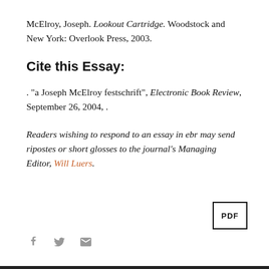McElroy, Joseph. Lookout Cartridge. Woodstock and New York: Overlook Press, 2003.
Cite this Essay:
. "a Joseph McElroy festschrift", Electronic Book Review, September 26, 2004, .
Readers wishing to respond to an essay in ebr may send ripostes or short glosses to the journal's Managing Editor, Will Luers.
[Figure (other): PDF button — a small rectangle with border containing the text PDF]
[Figure (other): Social sharing icons: Facebook f, Twitter bird, envelope/email icon in gray]